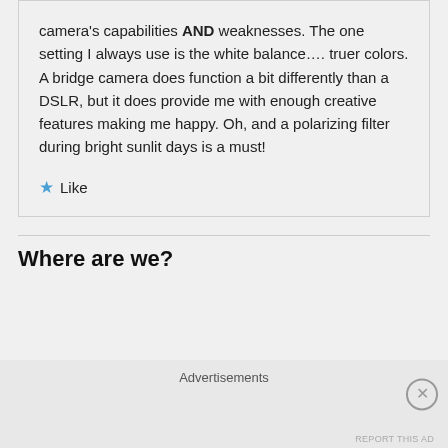camera's capabilities AND weaknesses. The one setting I always use is the white balance…. truer colors. A bridge camera does function a bit differently than a DSLR, but it does provide me with enough creative features making me happy. Oh, and a polarizing filter during bright sunlit days is a must!
★ Like
Where are we?
Advertisements